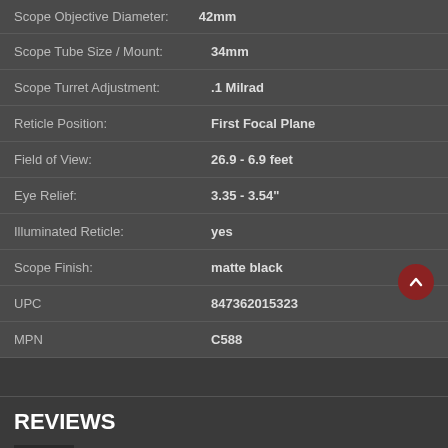| Attribute | Value |
| --- | --- |
| Scope Objective Diameter: | 42mm |
| Scope Tube Size / Mount: | 34mm |
| Scope Turret Adjustment: | .1 Milrad |
| Reticle Position: | First Focal Plane |
| Field of View: | 26.9 - 6.9 feet |
| Eye Relief: | 3.35 - 3.54" |
| Illuminated Reticle: | yes |
| Scope Finish: | matte black |
| UPC | 847362015323 |
| MPN | C588 |
REVIEWS
Reviews